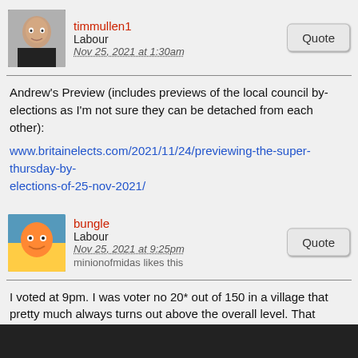timmullen1
Labour
Nov 25, 2021 at 1:30am
Andrew's Preview (includes previews of the local council by-elections as I'm not sure they can be detached from each other):
www.britainelects.com/2021/11/24/previewing-the-super-thursday-by-elections-of-25-nov-2021/
bungle
Labour
Nov 25, 2021 at 9:25pm
minionofmidas likes this
I voted at 9pm. I was voter no 20* out of 150 in a village that pretty much always turns out above the overall level. That equates to 13.3%.

* Yes what about postal votes. We have 5 postal voters (and I doubt all of those will have returned their ballots)
johng
Labour
Nov 25, 2021 at 9:34pm